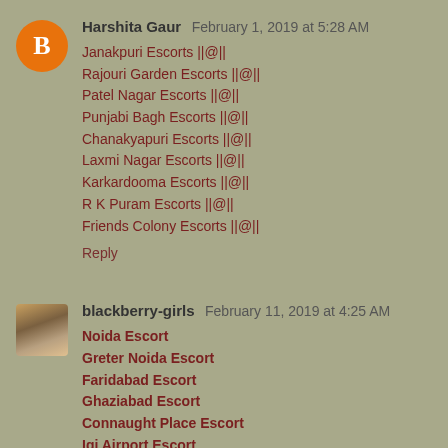Harshita Gaur  February 1, 2019 at 5:28 AM
Janakpuri Escorts ||@||
Rajouri Garden Escorts ||@||
Patel Nagar Escorts ||@||
Punjabi Bagh Escorts ||@||
Chanakyapuri Escorts ||@||
Laxmi Nagar Escorts ||@||
Karkardooma Escorts ||@||
R K Puram Escorts ||@||
Friends Colony Escorts ||@||
Reply
blackberry-girls  February 11, 2019 at 4:25 AM
Noida Escort
Greter Noida Escort
Faridabad Escort
Ghaziabad Escort
Connaught Place Escort
Igi Airport Escort
India Gate Escort